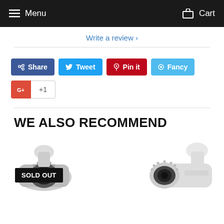Menu   Cart
Write a review ›
[Figure (screenshot): Social sharing buttons: Share (Facebook, blue), Tweet (Twitter, light blue), Pin it (Pinterest, red), Fancy (Fancy, cyan), G+ +1 (Google Plus, red/white)]
WE ALSO RECOMMEND
[Figure (photo): Security bullet camera with SOLD OUT badge overlay on left, and another security bullet camera on the right]
SOLD OUT